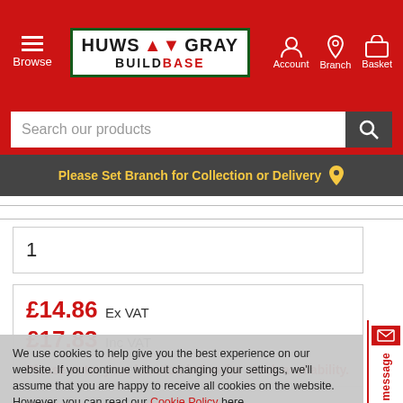Huws Gray Buildbase - Browse | Account | Branch | Basket
Search our products
Please Set Branch for Collection or Delivery
1
£14.86 Ex VAT
£17.83 Inc VAT
Please enter your location below for stock availability.
We use cookies to help give you the best experience on our website. If you continue without changing your settings, we'll assume that you are happy to receive all cookies on the website. However, you can read our Cookie Policy here.
Accept and Continue
Offline leave a message